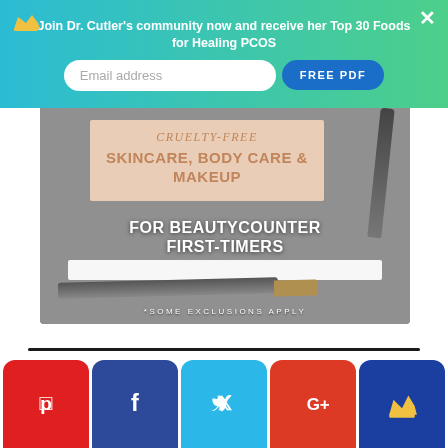Join Dr. Cutler's community now and receive her Top 30 Foods for Healing PCOS
Email address
FREE PDF
[Figure (photo): Beautycounter cosmetic products (pencils/eyeliners) on a gray background with overlay text: CRUELTY-FREE SKINCARE, BODY CARE & MAKEUP FOR BEAUTYCOUNTER FIRST-TIMERS *SOME EXCLUSIONS APPLY]
[Figure (infographic): Social sharing bar with Pinterest, Facebook, Twitter, Google+, and crown/community icons]